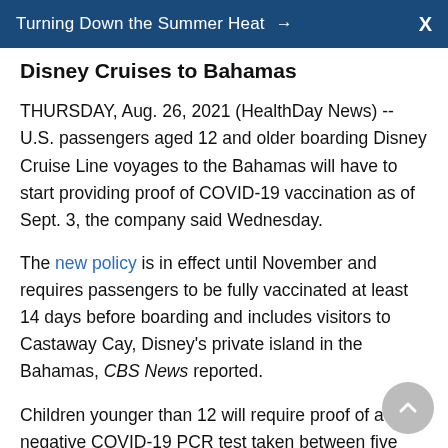Turning Down the Summer Heat →  X
Disney Cruises to Bahamas
THURSDAY, Aug. 26, 2021 (HealthDay News) -- U.S. passengers aged 12 and older boarding Disney Cruise Line voyages to the Bahamas will have to start providing proof of COVID-19 vaccination as of Sept. 3, the company said Wednesday.
The new policy is in effect until November and requires passengers to be fully vaccinated at least 14 days before boarding and includes visitors to Castaway Cay, Disney's private island in the Bahamas, CBS News reported.
Children younger than 12 will require proof of a negative COVID-19 PCR test taken between five days and 24 hours before boarding, as well as a second